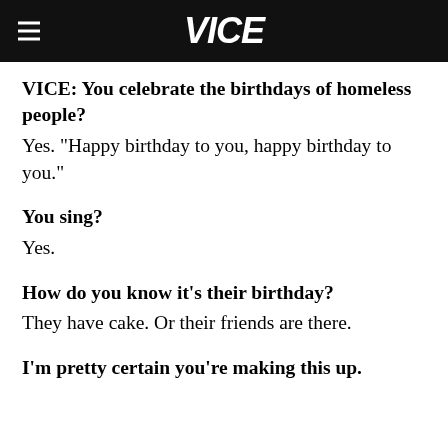VICE
VICE: You celebrate the birthdays of homeless people?
Yes. "Happy birthday to you, happy birthday to you."
You sing?
Yes.
How do you know it's their birthday?
They have cake. Or their friends are there.
I'm pretty certain you're making this up.